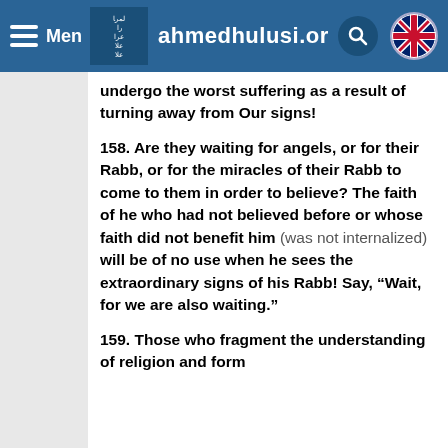Menu | ahmedhulusi.org
...turn away from them. They will undergo the worst suffering as a result of turning away from Our signs!
158. Are they waiting for angels, or for their Rabb, or for the miracles of their Rabb to come to them in order to believe? The faith of he who had not believed before or whose faith did not benefit him (was not internalized) will be of no use when he sees the extraordinary signs of his Rabb! Say, “Wait, for we are also waiting.”
159. Those who fragment the understanding of religion and form